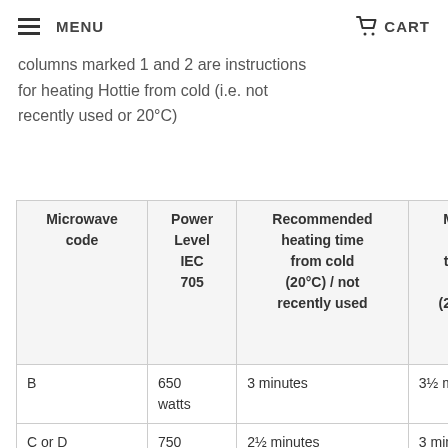MENU   CART
columns marked 1 and 2 are instructions for heating Hottie from cold (i.e. not recently used or 20°C)
| Microwave code | Power Level IEC 705 | Recommended heating time from cold (20°C) / not recently used | Maximum heating time from cold (20°C) / not recently used | Re- from rece use war |
| --- | --- | --- | --- | --- |
| B | 650 watts | 3 minutes | 3½ minutes | Rem fabr |
| C or D | 750 watts | 2½ minutes | 3 minutes | Re- 15 s incre |